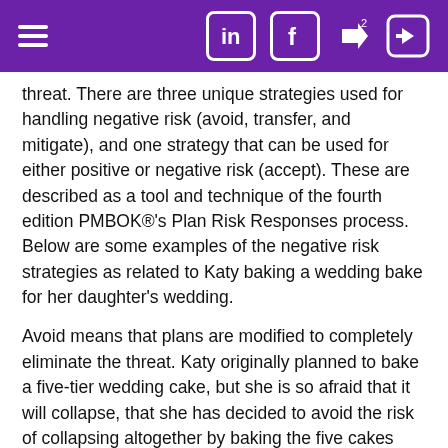Navigation bar with hamburger menu, LinkedIn, Facebook, share and login icons
threat. There are three unique strategies used for handling negative risk (avoid, transfer, and mitigate), and one strategy that can be used for either positive or negative risk (accept). These are described as a tool and technique of the fourth edition PMBOK®’s Plan Risk Responses process. Below are some examples of the negative risk strategies as related to Katy baking a wedding bake for her daughter’s wedding.
Avoid means that plans are modified to completely eliminate the threat. Katy originally planned to bake a five-tier wedding cake, but she is so afraid that it will collapse, that she has decided to avoid the risk of collapsing altogether by baking the five cakes and setting them each on their own platter beside each other on the cake table.
Transfer means that the ownership and consequences of